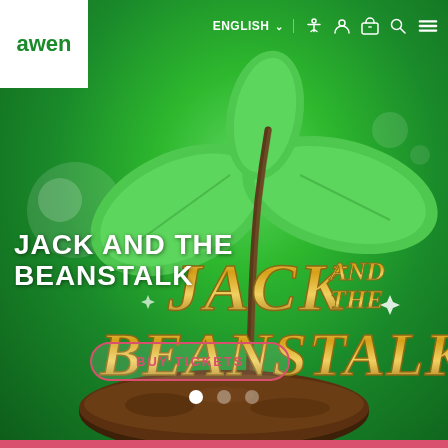[Figure (screenshot): Website screenshot of Awen cultural trust showing Jack and the Beanstalk pantomime promotional page with green background, plant imagery, decorative gold title text, and a Buy Tickets button]
ENGLISH  [accessibility icon] [account icon] [basket icon] [search icon] [menu icon]
JACK AND THE BEANSTALK
BUY TICKETS